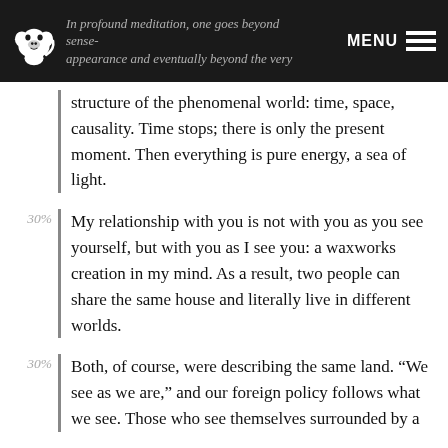In profound meditation, one goes beyond sense-appearance and eventually beyond the very | MENU
structure of the phenomenal world: time, space, causality. Time stops; there is only the present moment. Then everything is pure energy, a sea of light.
30% My relationship with you is not with you as you see yourself, but with you as I see you: a waxworks creation in my mind. As a result, two people can share the same house and literally live in different worlds.
30% Both, of course, were describing the same land. “We see as we are,” and our foreign policy follows what we see. Those who see themselves surrounded by a